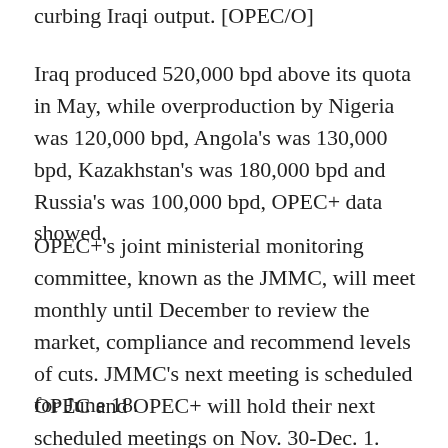curbing Iraqi output. [OPEC/O]
Iraq produced 520,000 bpd above its quota in May, while overproduction by Nigeria was 120,000 bpd, Angola's was 130,000 bpd, Kazakhstan's was 180,000 bpd and Russia's was 100,000 bpd, OPEC+ data showed.
OPEC+'s joint ministerial monitoring committee, known as the JMMC, will meet monthly until December to review the market, compliance and recommend levels of cuts. JMMC's next meeting is scheduled for June 18.
OPEC and OPEC+ will hold their next scheduled meetings on Nov. 30-Dec. 1.